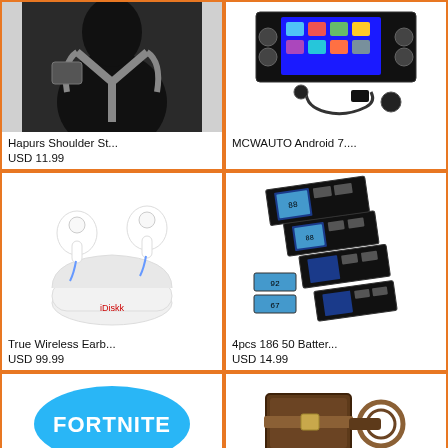[Figure (photo): Person wearing a black tactical shoulder strap holster vest]
Hapurs Shoulder St...
USD 11.99
[Figure (photo): MCWAUTO Android car stereo unit with touchscreen display and accessories]
MCWAUTO Android 7....
[Figure (photo): White iDiskk true wireless earbuds in charging case]
True Wireless Earb...
USD 99.99
[Figure (photo): 4pcs 18650 battery charger circuit boards with LCD displays]
4pcs 186 50 Batter...
USD 14.99
[Figure (photo): Fortnite game logo on teal/blue background]
[Figure (photo): Brown leather wallet with key ring and keychain]